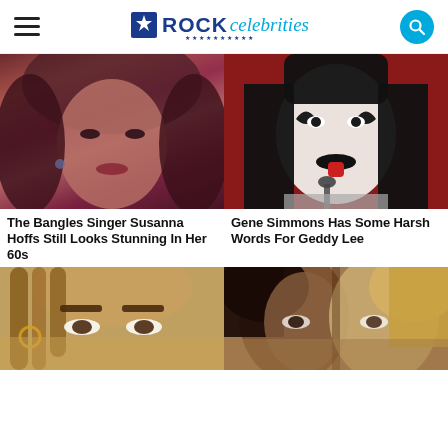ROCK celebrities
[Figure (photo): Close-up portrait of Susanna Hoffs, The Bangles singer, with dark hair and 80s makeup]
The Bangles Singer Susanna Hoffs Still Looks Stunning In Her 60s
[Figure (photo): Gene Simmons of KISS in full demon makeup with black and white face paint, performing at a microphone]
Gene Simmons Has Some Harsh Words For Geddy Lee
[Figure (photo): Close-up of a person with dreadlocks, partially cropped at bottom of page]
[Figure (photo): Close-up of two faces side by side, one dark-haired and one blonde, partially cropped at bottom of page]